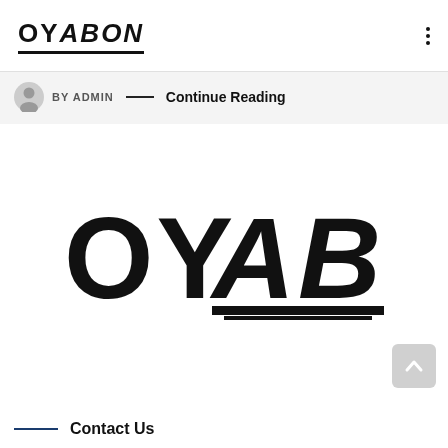OYABON
BY ADMIN — Continue Reading
[Figure (logo): Large OYABON logotype in bold black serif/italic font with underline decoration]
Contact Us